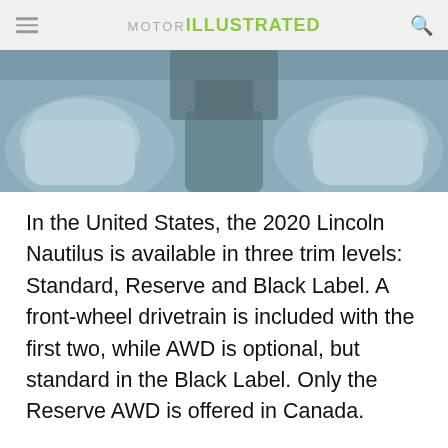MOTOR ILLUSTRATED
[Figure (photo): Car interior view showing leather seats and center console from overhead/rear perspective]
In the United States, the 2020 Lincoln Nautilus is available in three trim levels: Standard, Reserve and Black Label. A front-wheel drivetrain is included with the first two, while AWD is optional, but standard in the Black Label. Only the Reserve AWD is offered in Canada.
[Figure (screenshot): Advertisement banner: Get 0% Interest for 60 Months - Mattress Firm Potomac Run Plaza]